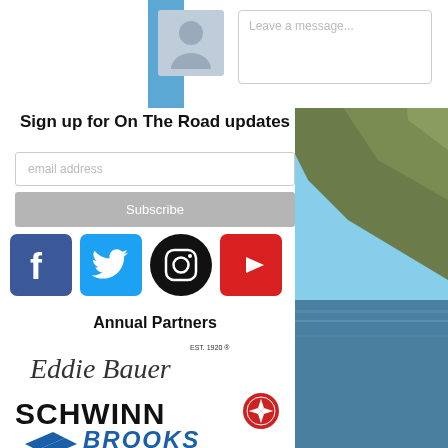[Figure (screenshot): Comment input area with avatar placeholder and 'Leave a message...' text field]
Sign up for On The Road updates
email address
Subscribe
[Figure (logo): Social media icons: Facebook, Twitter, Instagram, YouTube]
Annual Partners
[Figure (logo): Eddie Bauer EST. 1920 logo]
[Figure (logo): Schwinn logo with compass rose icon]
[Figure (logo): Brooks logo (partially visible)]